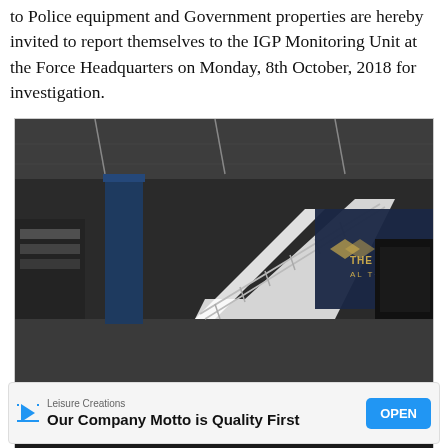to Police equipment and Government properties are hereby invited to report themselves to the IGP Monitoring Unit at the Force Headquarters on Monday, 8th October, 2018 for investigation.
[Figure (photo): Advertisement image showing an interior gym/fitness facility with stairs, blue columns, and signage reading 'THE ST. JAMES' and 'ALTE 3HT'. Below the image is promotional text '1 Month Personal Training Free' and an Ad badge with 'The St. James at Reston' and a 'Learn More' button.]
[Figure (infographic): Second advertisement banner for 'Leisure Creations' with tagline 'Our Company Motto is Quality First' and an 'OPEN' button.]